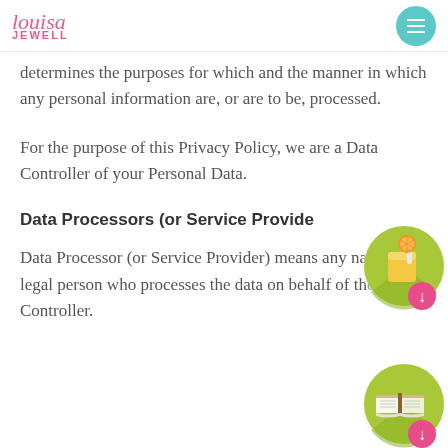louisa JEWELL
determines the purposes for which and the manner in which any personal information are, or are to be, processed.
For the purpose of this Privacy Policy, we are a Data Controller of your Personal Data.
Data Processors (or Service Providers)
Data Processor (or Service Provider) means any natural or legal person who processes the data on behalf of the Data Controller.
[Figure (illustration): Green circle with orange juice glass icon and pink download arrow badge]
[Figure (illustration): Green circle with open book icon and pink download arrow badge]